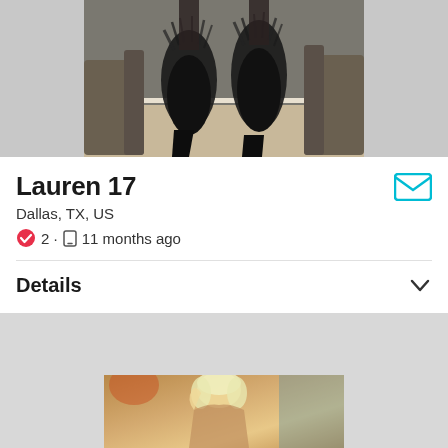[Figure (photo): Cropped photo showing dark feathered high-heel shoes and legs, with bar stools in background on light wood floor]
Lauren 17
Dallas, TX, US
2 · 11 months ago
Details
[Figure (photo): Partial photo of a blonde woman posing indoors]